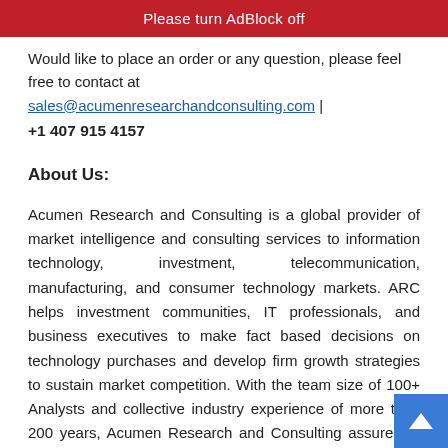Please turn AdBlock off
Would like to place an order or any question, please feel free to contact at sales@acumenresearchandconsulting.com | +1 407 915 4157
About Us:
Acumen Research and Consulting is a global provider of market intelligence and consulting services to information technology, investment, telecommunication, manufacturing, and consumer technology markets. ARC helps investment communities, IT professionals, and business executives to make fact based decisions on technology purchases and develop firm growth strategies to sustain market competition. With the team size of 100+ Analysts and collective industry experience of more than 200 years, Acumen Research and Consulting assures to deliver a combination of industry